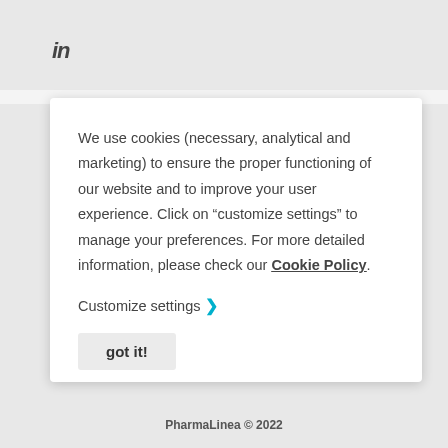in
We use cookies (necessary, analytical and marketing) to ensure the proper functioning of our website and to improve your user experience. Click on “customize settings” to manage your preferences. For more detailed information, please check our Cookie Policy.
Customize settings ❯
got it!
PharmaLinea © 2022